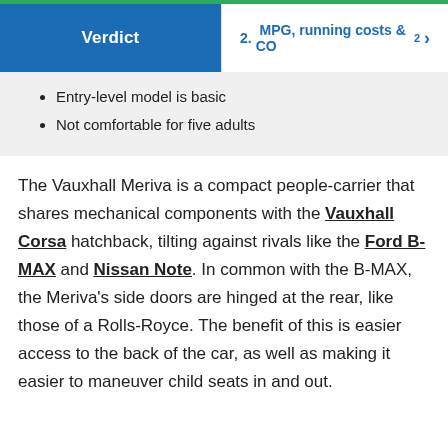Verdict | 2. MPG, running costs & CO2
Entry-level model is basic
Not comfortable for five adults
The Vauxhall Meriva is a compact people-carrier that shares mechanical components with the Vauxhall Corsa hatchback, tilting against rivals like the Ford B-MAX and Nissan Note. In common with the B-MAX, the Meriva's side doors are hinged at the rear, like those of a Rolls-Royce. The benefit of this is easier access to the back of the car, as well as making it easier to maneuver child seats in and out.